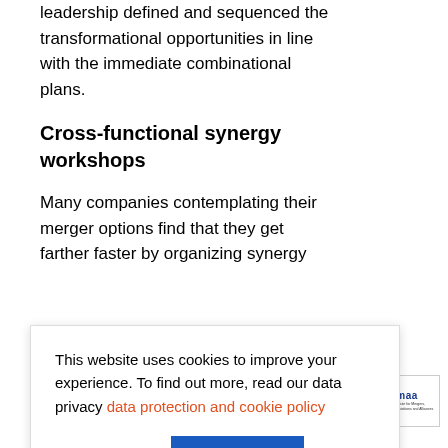leadership defined and sequenced the transformational opportunities in line with the immediate combinational plans.
Cross-functional synergy workshops
Many companies contemplating their merger options find that they get farther faster by organizing synergy
This website uses cookies to improve your experience. To find out more, read our data privacy data protection and cookie policy
Cookie Settings   Accept All
[Figure (logo): imaa - Institute for Mergers, Acquisitions and Alliances logo]
based approach had identified.